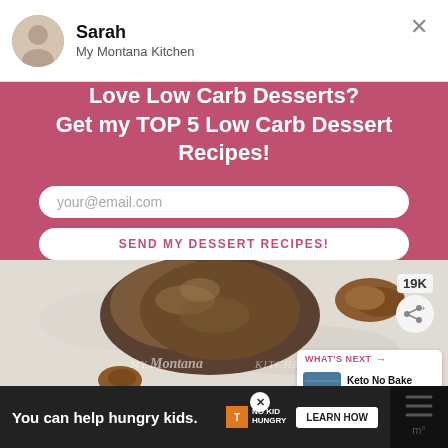Sarah
My Montana Kitchen
Love Low Carb Desserts?
Get my TOP 5 Low Carb Dessert Recipes!
your@email.com
SEND MY DESSERT RECIPES!
[Figure (photo): Photo of pecan cookies/clusters on a marble surface with a watermark reading MY Montana KITCHEN and a share badge showing 19K and a share icon with a What's Next card showing Keto No Bake Cookies | Lo...]
You can help hungry kids.
NO KID HUNGRY
LEARN HOW